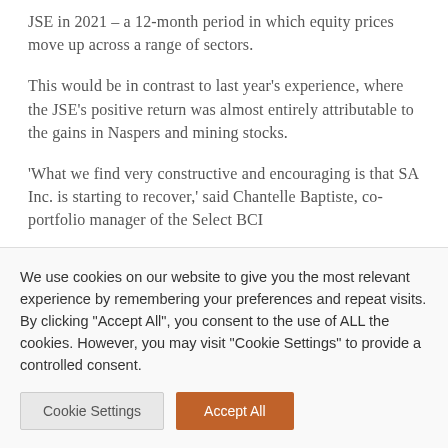JSE in 2021 – a 12-month period in which equity prices move up across a range of sectors.
This would be in contrast to last year's experience, where the JSE's positive return was almost entirely attributable to the gains in Naspers and mining stocks.
'What we find very constructive and encouraging is that SA Inc. is starting to recover,' said Chantelle Baptiste, co-portfolio manager of the Select BCI [clipped]
We use cookies on our website to give you the most relevant experience by remembering your preferences and repeat visits. By clicking "Accept All", you consent to the use of ALL the cookies. However, you may visit "Cookie Settings" to provide a controlled consent.